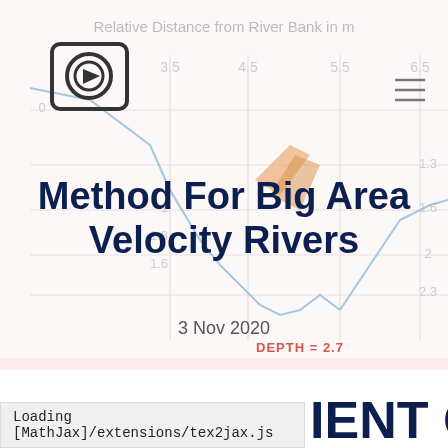[Figure (continuous-plot): Background chart showing 'Relative Distance from River Bank in m' on x-axis with values 3.5, 4.5, 5.5, 6.5. Depth values on right axis: 0, 1, 1.3, 1.6, 2, 2.3. 'DEPTH = 2.7' label in salmon/red. Blue line showing depth profile, orange arrow/shape in middle. A camera/play icon overlay at top-left.]
Method For Big Area Velocity Rivers
3 Nov 2020
Loading [MathJax]/extensions/tex2jax.js
IENT OF